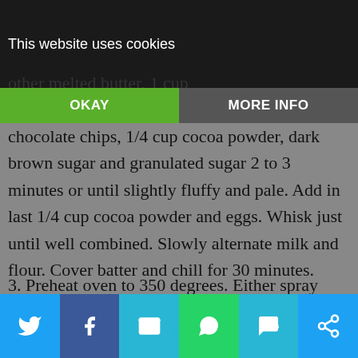This website uses cookies
other melted butter, 1 cup chocolate chips, 1/4 cup cocoa powder, dark brown sugar and granulated sugar 2 to 3 minutes or until slightly fluffy and pale. Add in last 1/4 cup cocoa powder and eggs. Whisk just until well combined. Slowly alternate milk and flour. Cover batter and chill for 30 minutes.
3. Preheat oven to 350 degrees. Either spray muffin tin with nonstick cooking spray or use liners. With a 1 1/2 tablespoon cookie scoop or two spoons alternate the two batters then lightly swirl.
Social share buttons: Twitter, Facebook, Email, WhatsApp, SMS, Share